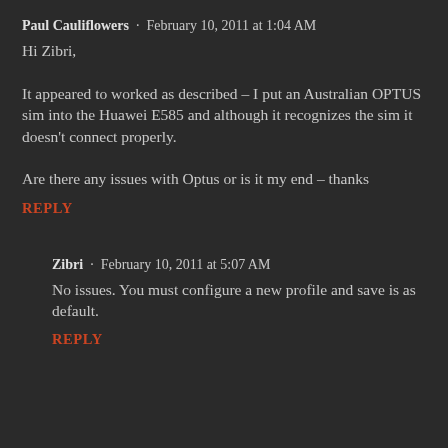Paul Cauliflowers · February 10, 2011 at 1:04 AM
Hi Zibri,

It appeared to worked as described – I put an Australian OPTUS sim into the Huawei E585 and although it recognizes the sim it doesn't connect properly.

Are there any issues with Optus or is it my end – thanks
REPLY
Zibri · February 10, 2011 at 5:07 AM
No issues. You must configure a new profile and save is as default.
REPLY